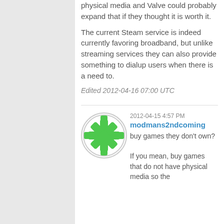physical media and Valve could probably expand that if they thought it is worth it.
The current Steam service is indeed currently favoring broadband, but unlike streaming services they can also provide something to dialup users when there is a need to.
Edited 2012-04-16 07:00 UTC
2012-04-15 4:57 PM
modmans2ndcoming
buy games they don't own?
If you mean, buy games that do not have physical media so the